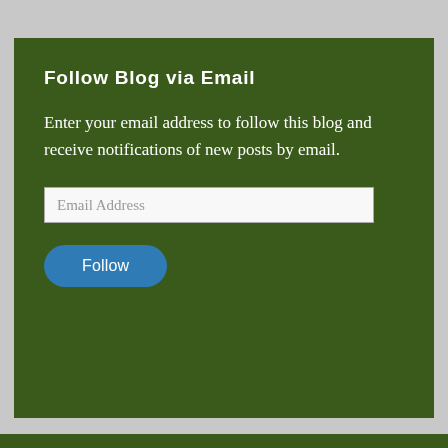Follow Blog via Email
Enter your email address to follow this blog and receive notifications of new posts by email.
[Figure (other): Email address input field with placeholder text 'Email Address']
[Figure (other): Blue rounded 'Follow' button]